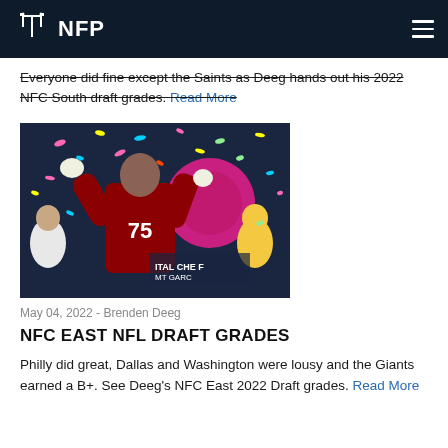NFP
Everyone did fine except the Saints as Deeg hands out his 2022 NFC South draft grades. Read More
[Figure (photo): Football player in red jersey number 75 celebrating with confetti falling, crowd behind him at what appears to be a championship event.]
May 04, 2022 - Brenden Deeg
NFC EAST NFL DRAFT GRADES
Philly did great, Dallas and Washington were lousy and the Giants earned a B+. See Deeg's NFC East 2022 Draft grades. Read More